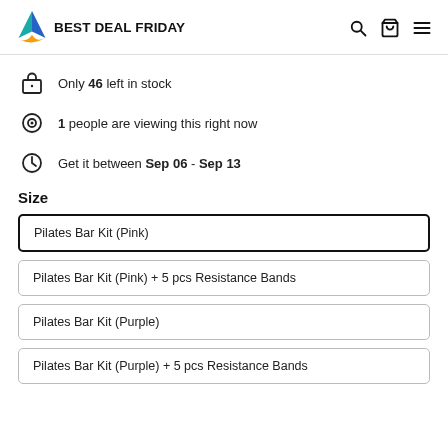[Figure (logo): Best Deal Friday logo with teal and orange triangle graphic and bold text]
Only 46 left in stock
1 people are viewing this right now
Get it between Sep 06 - Sep 13
Size
Pilates Bar Kit (Pink)
Pilates Bar Kit (Pink) + 5 pcs Resistance Bands
Pilates Bar Kit (Purple)
Pilates Bar Kit (Purple) + 5 pcs Resistance Bands